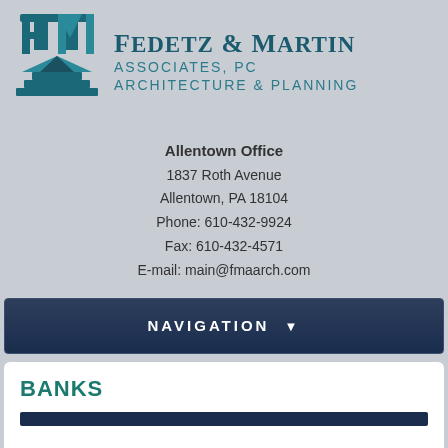[Figure (logo): Fedetz & Martin Associates PC Architecture & Planning logo with FM monogram consisting of stylized architectural columns and triangular shapes in teal/dark teal]
Fedetz & Martin Associates, PC Architecture & Planning
Allentown Office
1837 Roth Avenue
Allentown, PA 18104
Phone: 610-432-9924
Fax: 610-432-4571
E-mail: main@fmaarch.com
NAVIGATION ▼
BANKS